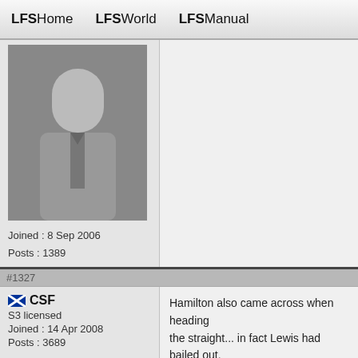LFSHome  LFSWorld  LFSManual
Joined : 8 Sep 2006
Posts : 1389
#1327
CSF
S3 licensed
Joined : 14 Apr 2008
Posts : 3689
Hamilton also came across when heading... the straight... in fact Lewis had bailed out,
#1328
Storm_Cloud
S2 licensed
Yes, and the tarmac was a slightly differ...

In both cases the driver ahead and on the